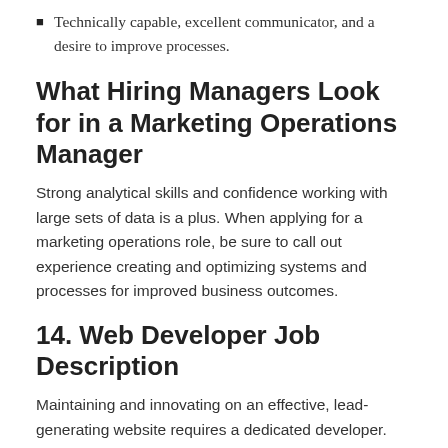Technically capable, excellent communicator, and a desire to improve processes.
What Hiring Managers Look for in a Marketing Operations Manager
Strong analytical skills and confidence working with large sets of data is a plus. When applying for a marketing operations role, be sure to call out experience creating and optimizing systems and processes for improved business outcomes.
14. Web Developer Job Description
Maintaining and innovating on an effective, lead-generating website requires a dedicated developer. DIY solutions don't work for professional brands, so having an expert on your team to improve website functionality and UX is a must.